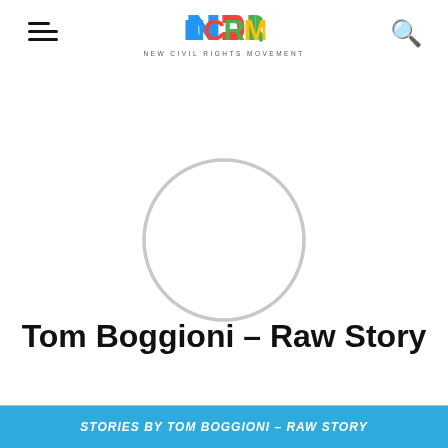NCRM – NEW CIVIL RIGHTS MOVEMENT
[Figure (illustration): Circular avatar placeholder outline — a thin light gray circle with no fill, representing a user profile image placeholder]
Tom Boggioni – Raw Story
STORIES BY TOM BOGGIONI – RAW STORY